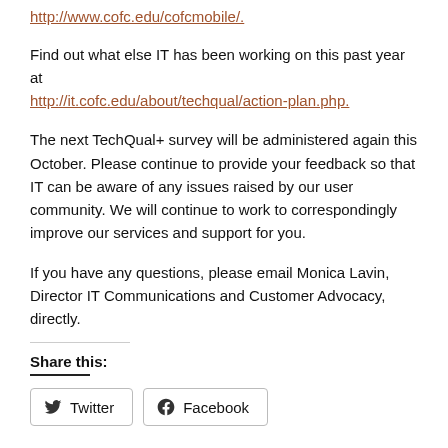http://www.cofc.edu/cofcmobile/.
Find out what else IT has been working on this past year at http://it.cofc.edu/about/techqual/action-plan.php.
The next TechQual+ survey will be administered again this October. Please continue to provide your feedback so that IT can be aware of any issues raised by our user community. We will continue to work to correspondingly improve our services and support for you.
If you have any questions, please email Monica Lavin, Director IT Communications and Customer Advocacy, directly.
Share this:
Twitter  Facebook